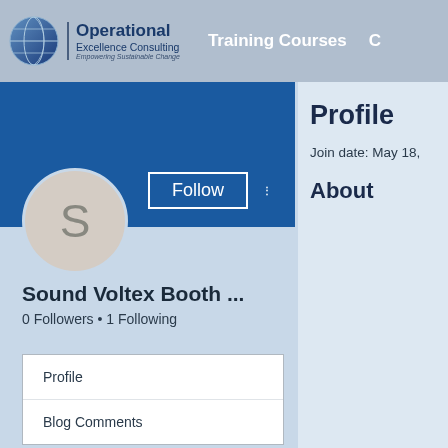Operational Excellence Consulting — Empowering Sustainable Change | Training Courses | C…
[Figure (screenshot): User profile page for 'Sound Voltex Booth ...' on Operational Excellence Consulting platform. Shows a blue profile banner, circular avatar with letter S, Follow button, 0 Followers • 1 Following, and a navigation box with Profile and Blog Comments links.]
Sound Voltex Booth ...
0 Followers • 1 Following
Profile
Blog Comments
Profile
Join date: May 18,
About